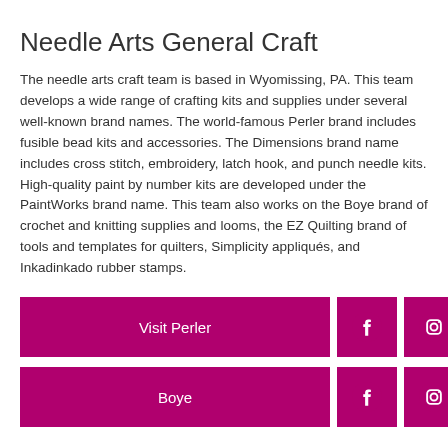Needle Arts General Craft
The needle arts craft team is based in Wyomissing, PA. This team develops a wide range of crafting kits and supplies under several well-known brand names. The world-famous Perler brand includes fusible bead kits and accessories. The Dimensions brand name includes cross stitch, embroidery, latch hook, and punch needle kits. High-quality paint by number kits are developed under the PaintWorks brand name. This team also works on the Boye brand of crochet and knitting supplies and looms, the EZ Quilting brand of tools and templates for quilters, Simplicity appliqués, and Inkadinkado rubber stamps.
Visit Perler
Boye